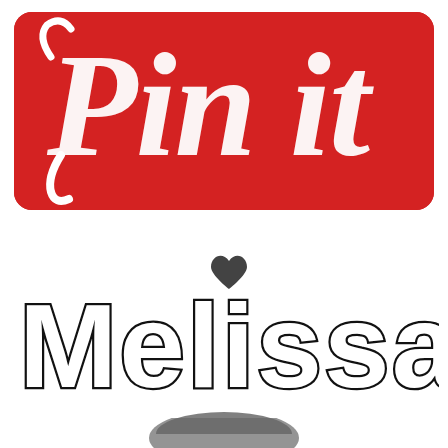[Figure (logo): Pinterest 'Pin it' button logo — red rounded rectangle background with white cursive 'Pin it' text including the Pinterest 'P' with a curled tail]
[Figure (logo): Handwritten/bubble-letter 'Melissa' text logo with a black heart above the letter 'l', drawn in black outline style on white background. Below is a partial dark circular shape.]